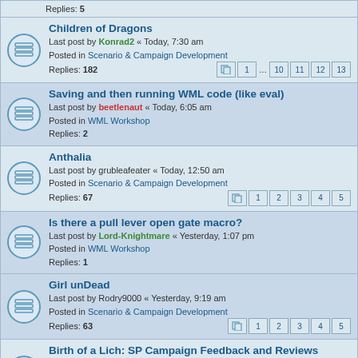Replies: 5
Children of Dragons — Last post by Konrad2 « Today, 7:30 am — Posted in Scenario & Campaign Development — Replies: 182 — Pages: 1 ... 10 11 12 13
Saving and then running WML code (like eval) — Last post by beetlenaut « Today, 6:05 am — Posted in WML Workshop — Replies: 2
Anthalia — Last post by grubleafeater « Today, 12:50 am — Posted in Scenario & Campaign Development — Replies: 67 — Pages: 1 2 3 4 5
Is there a pull lever open gate macro? — Last post by Lord-Knightmare « Yesterday, 1:07 pm — Posted in WML Workshop — Replies: 1
Girl unDead — Last post by Rodry9000 « Yesterday, 9:19 am — Posted in Scenario & Campaign Development — Replies: 63 — Pages: 1 2 3 4 5
Birth of a Lich: SP Campaign Feedback and Reviews — Last post by Konrad2 « Yesterday, 7:12 am — Posted in Scenario & Campaign Development — Replies: 82 — Pages: 1 2 3 4 5 6
A Tale of Two Brothers With a Third Difficulty — Last post by chee « August 31st, 2022, 6:40 am